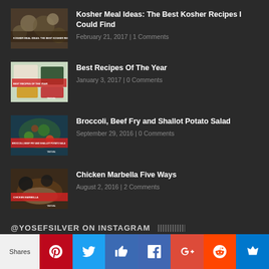Kosher Meal Ideas: The Best Kosher Recipes I Could Find | February 21, 2017 | 1 Comments
Best Recipes Of The Year | January 3, 2017 | 0 Comments
Broccoli, Beef Fry and Shallot Potato Salad | September 29, 2016 | 0 Comments
Chicken Marbella Five Ways | August 2, 2016 | 2 Comments
@YOSEFSILVER ON INSTAGRAM
Shares | Pinterest | Twitter | Like | Facebook | G+ | Reddit | Crown